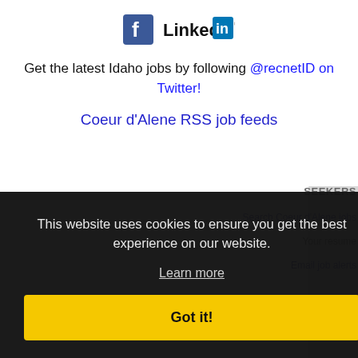[Figure (logo): Facebook and LinkedIn social media logos/icons]
Get the latest Idaho jobs by following @recnetID on Twitter!
Coeur d'Alene RSS job feeds
This website uses cookies to ensure you get the best experience on our website.
Learn more
Got it!